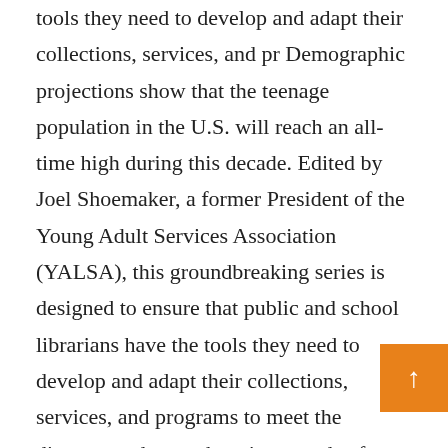tools they need to develop and adapt their collections, services, and pr Demographic projections show that the teenage population in the U.S. will reach an all-time high during this decade. Edited by Joel Shoemaker, a former President of the Young Adult Services Association (YALSA), this groundbreaking series is designed to ensure that public and school librarians have the tools they need to develop and adapt their collections, services, and programs to meet the diverse--and ever-changing--needs of young adults. Yesterday's comic book has evolved into today's graphic novel. Richer storylines and artwork can entice "reluctant readers" into the reading habit. Here is a comprehensive overview of graphic novels and their use as reader development tools. Miller explores the evolution, catego and genres of graphic novels; he then addresses the nit gritty details of collection development, acquisition,